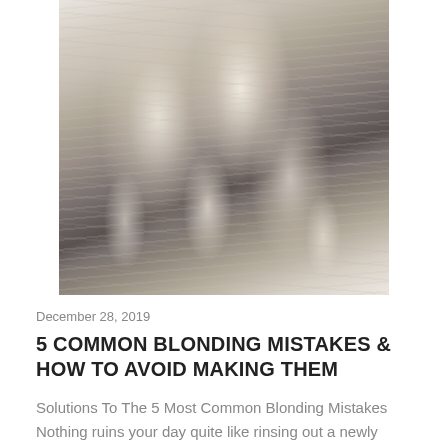[Figure (photo): Back view of a person with long, wavy platinum blonde hair wearing a dark grey fitted top. The hair has voluminous curls cascading down the back.]
December 28, 2019
5 COMMON BLONDING MISTAKES & HOW TO AVOID MAKING THEM
Solutions To The 5 Most Common Blonding Mistakes Nothing ruins your day quite like rinsing out a newly blonde client and seeing uneven lift and pockets of yellow. Tired of questioning what went wrong with n...